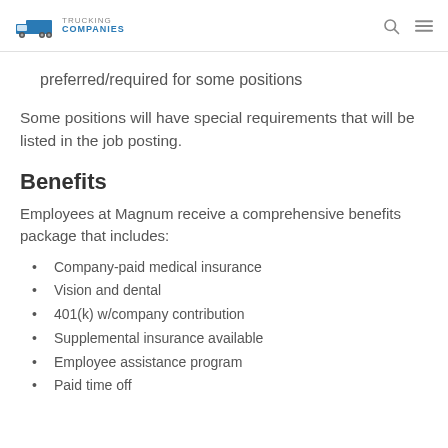TRUCKING COMPANIES
preferred/required for some positions
Some positions will have special requirements that will be listed in the job posting.
Benefits
Employees at Magnum receive a comprehensive benefits package that includes:
Company-paid medical insurance
Vision and dental
401(k) w/company contribution
Supplemental insurance available
Employee assistance program
Paid time off